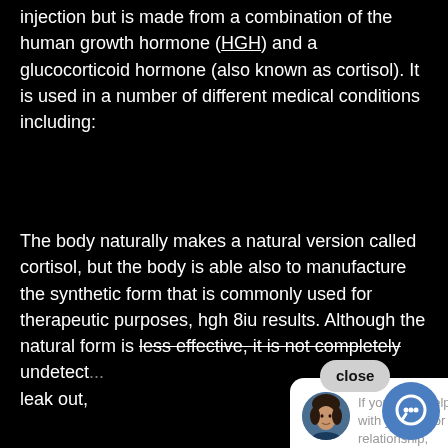injection but is made from a combination of the human growth hormone (HGH) and a glucocorticoid hormone (also known as cortisol). It is used in a number of different medical conditions including:
The body naturally makes a natural version called cortisol, but the body is able also to manufacture the synthetic form that is commonly used for therapeutic purposes, hgh 8iu results. Although the natural form is less effective, it is not completely undetect... leak out,
[Figure (screenshot): Chat popup overlay showing a woman's avatar photo and text: 'If you need help with your life or relationship, message us here!' with a close button and chat icon button]
When ta... somatrop... by the liver, hgh 5iu a day results. When somatropin is taken by injection, the amount of the hormone in the system is very small, hgh day. The body cannot metabolize the drug.